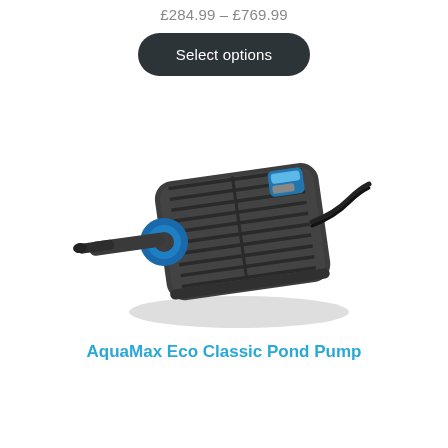£284.99 – £769.99
Select options
[Figure (photo): AquaMax Eco Classic Pond Pump product photo — dark grey pump unit with ribbed surface and blue circular connector with hose outlet on left side, cable on right, blue brand label on top corner]
AquaMax Eco Classic Pond Pump